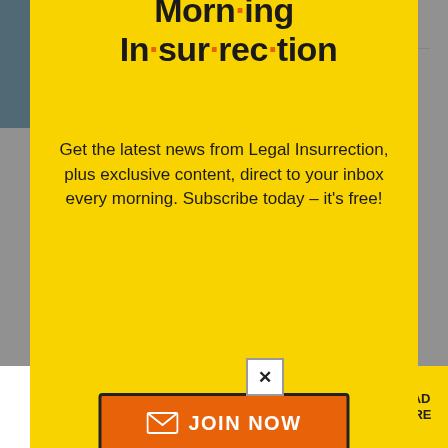gonzotx | January 22, 2019 at 2:28 pm
She voted on the military transgender issue.
[Figure (screenshot): Modal popup with yellow background showing 'Morning Insurrection' newsletter signup. Title reads 'Morn·ing In·sur·rec·tion' with orange dots. Body text: 'Get the latest news from Legal Insurrection, plus exclusive content, direct to your inbox every morning. Subscribe today – it's free!' Orange JOIN NOW button with envelope icon. X close button top right.]
opportunity to expand 2A jurisprudence
[Figure (screenshot): Ad banner at the bottom: THE PERSPECTIVE (mirrored) - SEE WHAT YOU'RE MISSING - READ MORE button in yellow]
amendments in the Bill Of Rights.